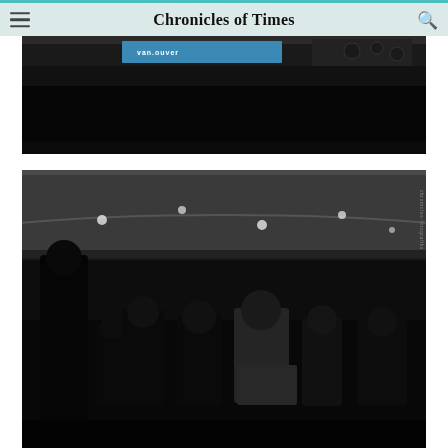Chronicles of Times
[Figure (photo): Dark concert/event photo showing a stage with Vancouver signage and lighting equipment at the top, mostly black/dark interior]
[Figure (photo): Black and white photo of an indoor event/auditorium showing a standing person on the left speaking to seated audience members in rows, with balcony and ceiling lights visible in the background]